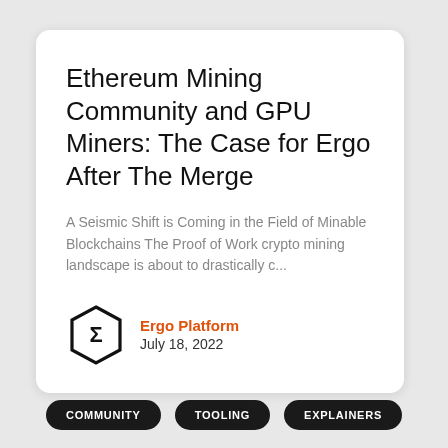Ethereum Mining Community and GPU Miners: The Case for Ergo After The Merge
A Seismic Shift is Coming in the Field of Minable Blockchains The Proof of Work crypto mining landscape is about to drastically c...
Ergo Platform
July 18, 2022
COMMUNITY
TOOLING
EXPLAINERS